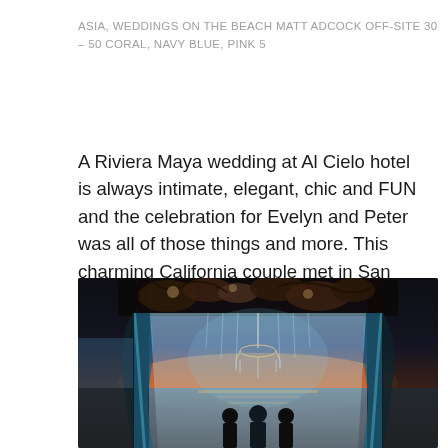ASIA, WEDDINGS ON THE BEACH MATT ADCOCK OFF-SITE 30 – 50 CORAL, NAVY BLUE, PINK 5
A Riviera Maya wedding at Al Cielo hotel is always intimate, elegant, chic and FUN and the celebration for Evelyn and Peter was all of those things and more. This charming California couple met in San Francisco through a mutual friend and since...
[Figure (photo): A beach wedding ceremony at sunset, showing a decorated arch/chuppah with floral arrangements at the top, blue draped fabric on the sides, and a chandelier hanging in the center. Three silhouetted figures stand beneath the arch facing the ocean, with a dramatic orange and purple sunset sky in the background.]